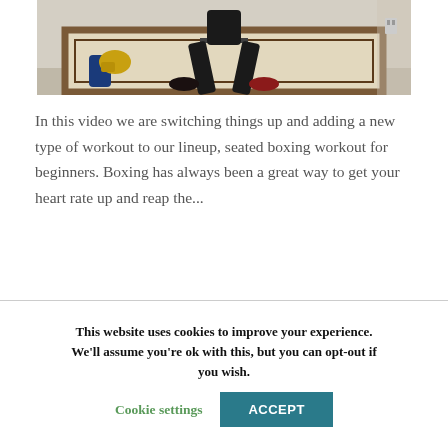[Figure (photo): A person seated on a chair on a rug in a room, with boxing gloves and a bag on the floor beside them. The setting appears to be a home workout environment.]
In this video we are switching things up and adding a new type of workout to our lineup, seated boxing workout for beginners. Boxing has always been a great way to get your heart rate up and reap the...
This website uses cookies to improve your experience. We'll assume you're ok with this, but you can opt-out if you wish. Cookie settings ACCEPT